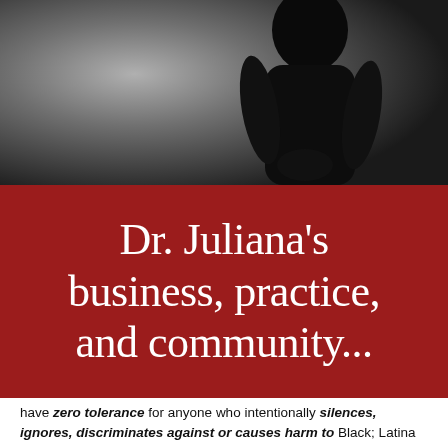[Figure (photo): Black and white photograph of a person dressed in dark clothing, partially visible from the torso, against a grey background.]
Dr. Juliana's business, practice, and community...
have zero tolerance for anyone who intentionally silences, ignores, discriminates against or causes harm to Black; Latina